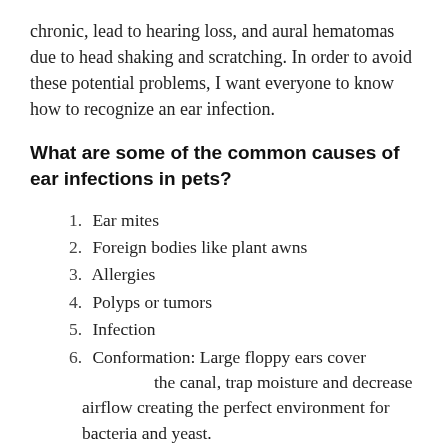chronic, lead to hearing loss, and aural hematomas due to head shaking and scratching. In order to avoid these potential problems, I want everyone to know how to recognize an ear infection.
What are some of the common causes of ear infections in pets?
1. Ear mites
2. Foreign bodies like plant awns
3. Allergies
4. Polyps or tumors
5. Infection
6. Conformation: Large floppy ears cover the canal, trap moisture and decrease airflow creating the perfect environment for bacteria and yeast.